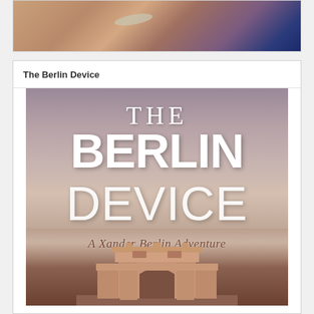[Figure (illustration): Top portion of a book cover or illustration showing a fantasy/sci-fi scene with warm brown and blue tones, featuring what appears to be a blimp or airship shape against a swirling background.]
The Berlin Device
[Figure (illustration): Book cover for 'The Berlin Device: A Xander Berlin Adventure' showing large white bold text against a cloudy sky background with a historic arched building/gate at the bottom.]